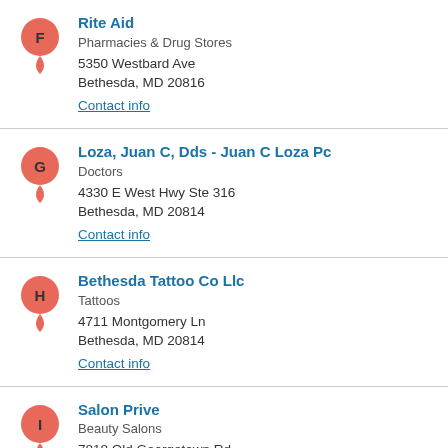F - Rite Aid | Pharmacies & Drug Stores | 5350 Westbard Ave, Bethesda, MD 20816 | Contact info
G - Loza, Juan C, Dds - Juan C Loza Pc | Doctors | 4330 E West Hwy Ste 316, Bethesda, MD 20814 | Contact info
H - Bethesda Tattoo Co Llc | Tattoos | 4711 Montgomery Ln, Bethesda, MD 20814 | Contact info
I - Salon Prive | Beauty Salons | 7818 Old Georgetown Rd, Bethesda, MD 20814 | Contact info